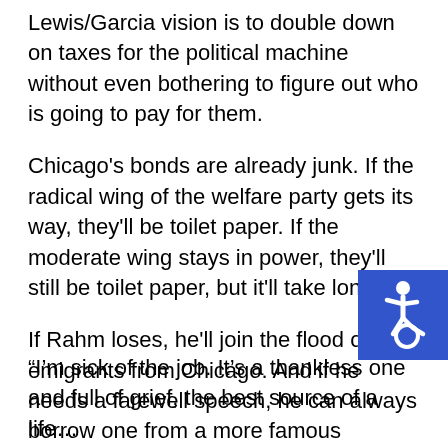Lewis/Garcia vision is to double down on taxes for the political machine without even bothering to figure out who is going to pay for them.
Chicago's bonds are already junk. If the radical wing of the welfare party gets its way, they'll be toilet paper. If the moderate wing stays in power, they'll still be toilet paper, but it'll take longer.
If Rahm loses, he'll join the flood of emigrants from Chicago. And if he needs a farewell speech, he can always borrow one from a more famous Chicago boss.
[Figure (illustration): Blue accessibility icon (wheelchair symbol) on blue background square]
“I’m sick of the job. It’s a thankless one and full of grief, the best source of a life…